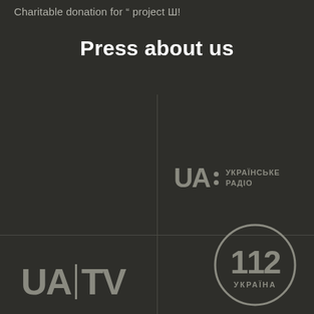Charitable donation for " project Ш
Press about us
[Figure (logo): UA: Українське Радіо logo — letters UA with colon dots and text УКРАЇНСЬКЕ РАДІО]
[Figure (logo): UA|TV logo in grey]
[Figure (logo): 112 Україна circular logo]